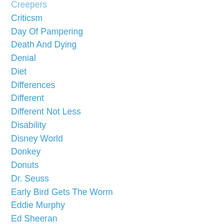Creepers
Criticsm
Day Of Pampering
Death And Dying
Denial
Diet
Differences
Different
Different Not Less
Disability
Disney World
Donkey
Donuts
Dr. Seuss
Early Bird Gets The Worm
Eddie Murphy
Ed Sheeran
Educators
Effects Of Autism
Emily Dickinson
Emoji